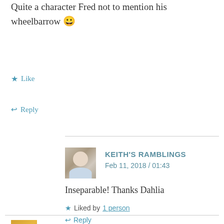Quite a character Fred not to mention his wheelbarrow 😀
★ Like
↩ Reply
KEITH'S RAMBLINGS
Feb 11, 2018 / 01:43
Inseparable! Thanks Dahlia
★ Liked by 1 person
↩ Reply